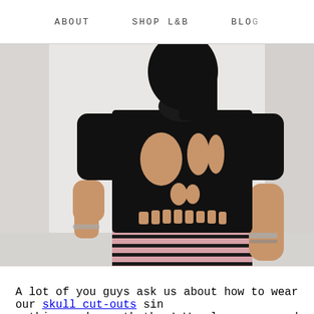ABOUT   SHOP L&B   BLOG
[Figure (photo): A woman photographed from behind wearing a black t-shirt with skull-shaped cut-outs on the back, paired with a black and white striped skirt. The background is white/light grey.]
A lot of you guys ask us about how to wear our skull cut-outs since nothing underneath them! We always respond with a massive list o